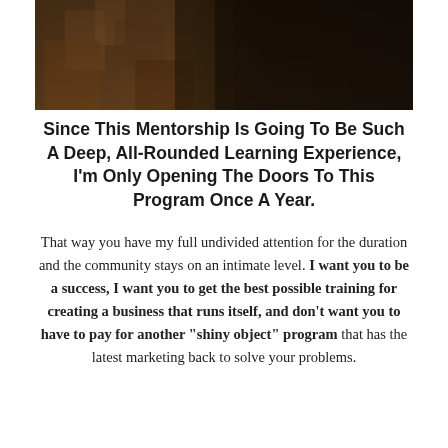[Figure (photo): Dark atmospheric photo showing rocky/cave-like texture on the left and dark background on the right]
Since This Mentorship Is Going To Be Such A Deep, All-Rounded Learning Experience, I'm Only Opening The Doors To This Program Once A Year.
That way you have my full undivided attention for the duration and the community stays on an intimate level. I want you to be a success, I want you to get the best possible training for creating a business that runs itself, and don't want you to have to pay for another "shiny object" program that has the latest marketing back to solve your problems.